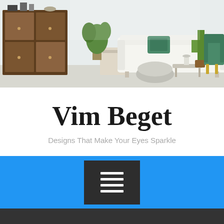[Figure (photo): Interior design hero image showing a bright modern living room with white sofa, green accent pillow, wooden furniture, indoor plants, cactus, and teal/green armchair on the right side]
Vim Beget
Designs That Make Your Eyes Sparkle
[Figure (other): Blue navigation bar with centered dark square menu button containing a hamburger (three horizontal lines) icon]
Online Business